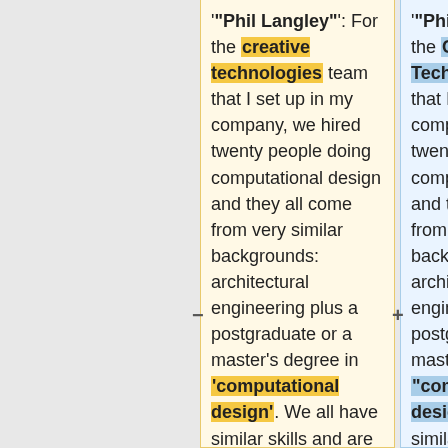'"Phil Langley"': For the creative technologies team that I set up in my company, we hired twenty people doing computational design and they all come from very similar backgrounds: architectural engineering plus a postgraduate or a master’s degree in ‘computational design’. We all have similar skills and are from a narrow
'"Phil Langley"': For the Creative Technologies team that I set up in my company, we hired twenty people doing computational design and they all come from very similar backgrounds: architectural engineering plus a postgraduate or a master’s degree in “computational design”. We all have similar skills and are from a narrow